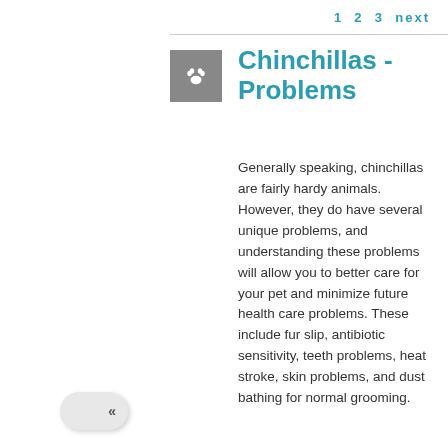1  2  3  next
[Figure (illustration): Gray square icon with a white paw print symbol]
Chinchillas - Problems
Generally speaking, chinchillas are fairly hardy animals. However, they do have several unique problems, and understanding these problems will allow you to better care for your pet and minimize future health care problems. These include fur slip, antibiotic sensitivity, teeth problems, heat stroke, skin problems, and dust bathing for normal grooming.